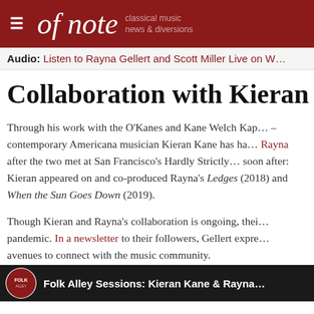of note — classical music news & diversions
Audio: Listen to Rayna Gellert and Scott Miller Live on W…
Collaboration with Kieran
Through his work with the O'Kanes and Kane Welch Kap– contemporary Americana musician Kieran Kane has ha… Rayna after the two met at San Francisco's Hardly Strictly… soon after: Kieran appeared on and co-produced Rayna's Ledges (2018) and When the Sun Goes Down (2019).
Though Kieran and Rayna's collaboration is ongoing, thei… pandemic. In a newsletter to their followers, Gellert expre… avenues to connect with the music community.
[Figure (screenshot): Folk Alley Sessions: Kieran Kane & Rayna — video thumbnail with dark background and folk logo]